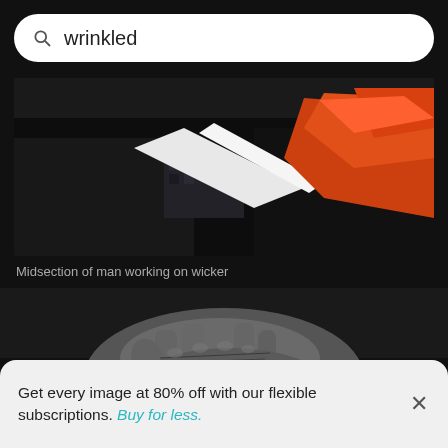wrinkled
[Figure (photo): Midsection of man working on wicker — colorful image showing a person's torso with orange and white materials, wearing dark clothing]
Midsection of man working on wicker
[Figure (photo): Black and white close-up photo of wrinkled elderly hands clasped together resting on a dark leather surface]
Get every image at 80% off with our flexible subscriptions. Buy for less.